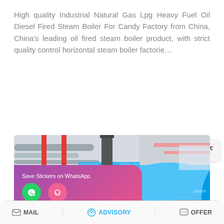High quality Industrial Natural Gas Lpg Heavy Fuel Oil Diesel Fired Steam Boiler For Candy Factory from China, China's leading oil fired steam boiler product, with strict quality control horizontal steam boiler factorie…
[Figure (other): READ MORE button — blue rounded rectangle with white bold text]
[Figure (photo): Industrial boiler room interior showing a large blue cylindrical steam boiler with red and silver pipes, blue metal walkway/platform, and a chimney stack. WhatsApp sticker-save overlay at bottom left with purple-pink gradient background showing phone and emoji icons.]
MAIL   ADVISORY   OFFER